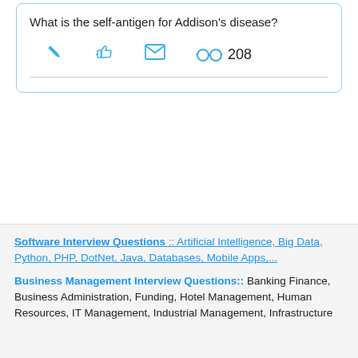What is the self-antigen for Addison's disease?
[Figure (screenshot): Action icons: pencil (edit), thumb/hand icon, envelope/mail icon, and glasses icon with view count 208]
[Figure (infographic): Social share buttons: WhatsApp (green phone icon), SMS (blue speech bubble), Facebook (dark blue f), Twitter (light blue bird)]
Software Interview Questions :: Artificial Intelligence, Big Data, Python, PHP, DotNet, Java, Databases, Mobile Apps,...
Business Management Interview Questions:: Banking Finance, Business Administration, Funding, Hotel Management, Human Resources, IT Management, Industrial Management, Infrastructure Management, Marketing, Sales, Operations Management,...